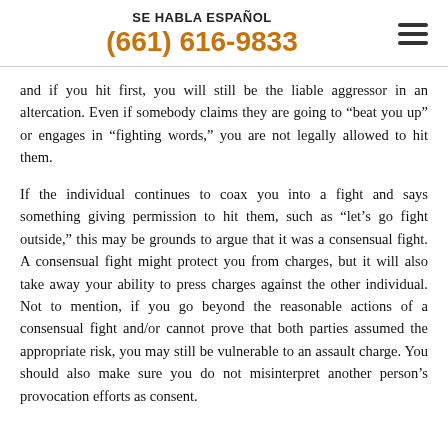SE HABLA ESPAÑOL
(661) 616-9833
and if you hit first, you will still be the liable aggressor in an altercation. Even if somebody claims they are going to “beat you up” or engages in “fighting words,” you are not legally allowed to hit them.
If the individual continues to coax you into a fight and says something giving permission to hit them, such as “let’s go fight outside,” this may be grounds to argue that it was a consensual fight. A consensual fight might protect you from charges, but it will also take away your ability to press charges against the other individual. Not to mention, if you go beyond the reasonable actions of a consensual fight and/or cannot prove that both parties assumed the appropriate risk, you may still be vulnerable to an assault charge. You should also make sure you do not misinterpret another person’s provocation efforts as consent.